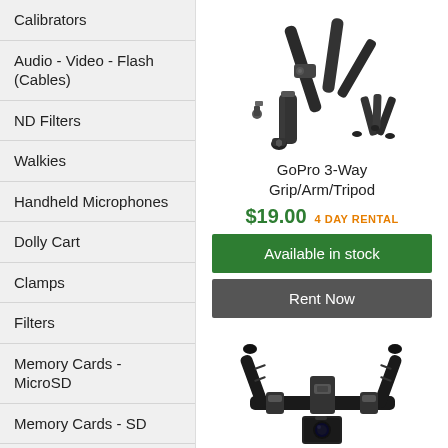Calibrators
Audio - Video - Flash (Cables)
ND Filters
Walkies
Handheld Microphones
Dolly Cart
Clamps
Filters
Memory Cards - MicroSD
Memory Cards - SD
Memory Cards - Compact Flash (CF)
[Figure (photo): GoPro 3-Way Grip/Arm/Tripod product photo showing the accessory components]
GoPro 3-Way Grip/Arm/Tripod
$19.00  4 DAY RENTAL
Available in stock
Rent Now
[Figure (photo): GoPro Action Accessories Kit - chest harness mount product photo]
GoPro Action Accessories Kit